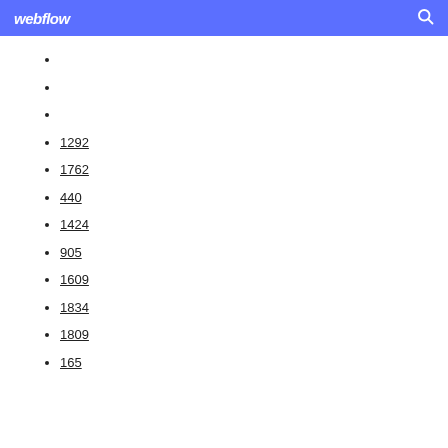webflow
1292
1762
440
1424
905
1609
1834
1809
165